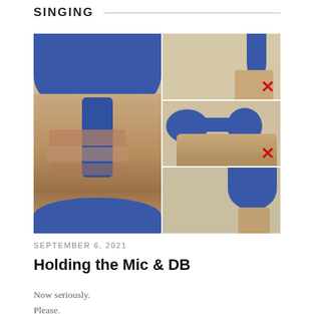SINGING
[Figure (photo): Composite photo showing a close-up of a hand gripping a blue dumbbell on the left, and three smaller photos on the right showing different hand positions holding a blue dumbbell, with red X marks on the top-right and middle-right panels indicating incorrect grip techniques.]
SEPTEMBER 6, 2021
Holding the Mic & DB
Now seriously.
Please.